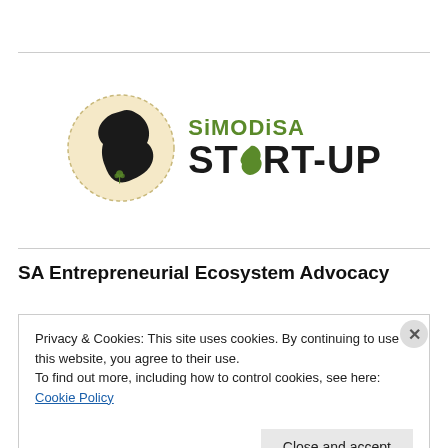[Figure (logo): SiMODiSA Start-Up logo: circular emblem with African continent silhouette in black on beige background with dotted border, beside text 'SiMODiSA' in green and 'ST★RT-UP' in bold black with green Africa icon replacing the letter A in START]
SA Entrepreneurial Ecosystem Advocacy
Privacy & Cookies: This site uses cookies. By continuing to use this website, you agree to their use.
To find out more, including how to control cookies, see here: Cookie Policy